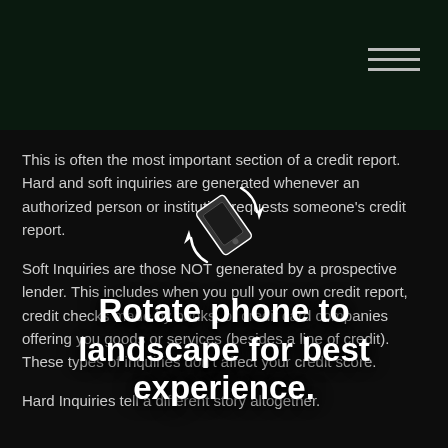This is often the most important section of a credit report. Hard and soft inquiries are generated whenever an authorized person or institution requests someone's credit report.
Soft Inquiries are those NOT generated by a prospective lender. This includes when you pull your own credit report, credit checks made by banks, or credit card companies offering you goods or services (besides a line of credit). These types of inquiries don't affect your credit score.
[Figure (illustration): Rotate phone icon with arrows indicating landscape rotation]
Rotate phone to landscape for best experience.
Hard Inquiries tell a different story altogether.